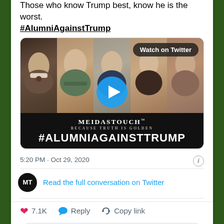Those who know Trump best, know he is the worst. #AlumniAgainstTrump
[Figure (screenshot): MeidasTouch video thumbnail showing faces of political figures with text #AlumniAgainstTrump and 'Watch on Twitter' badge with play button]
5:20 PM · Oct 29, 2020
Read the full conversation on Twitter
7.1K  Reply  Copy link
Read 141 replies